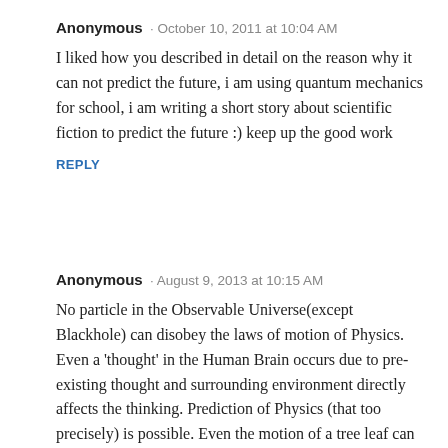Anonymous · October 10, 2011 at 10:04 AM
I liked how you described in detail on the reason why it can not predict the future, i am using quantum mechanics for school, i am writing a short story about scientific fiction to predict the future :) keep up the good work
REPLY
Anonymous · August 9, 2013 at 10:15 AM
No particle in the Observable Universe(except Blackhole) can disobey the laws of motion of Physics. Even a 'thought' in the Human Brain occurs due to pre-existing thought and surrounding environment directly affects the thinking. Prediction of Physics (that too precisely) is possible. Even the motion of a tree leaf can